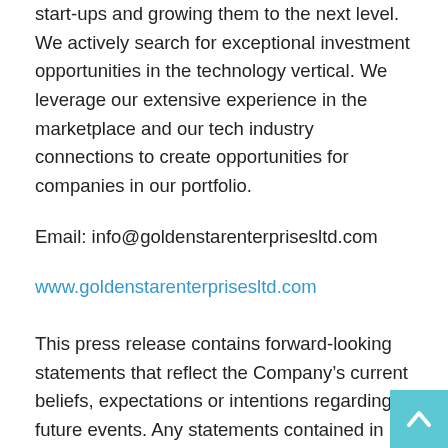start-ups and growing them to the next level. We actively search for exceptional investment opportunities in the technology vertical. We leverage our extensive experience in the marketplace and our tech industry connections to create opportunities for companies in our portfolio.
Email: info@goldenstarenterprisesltd.com
www.goldenstarenterprisesltd.com
This press release contains forward-looking statements that reflect the Company’s current beliefs, expectations or intentions regarding future events. Any statements contained in this press release that are not statements of historical fact may be deemed forward-looking statements. Words such as “will,” “will be,” “anticipate,” “predict,” “expect” “continue,” “future,” and similar expressions are intended to identify such